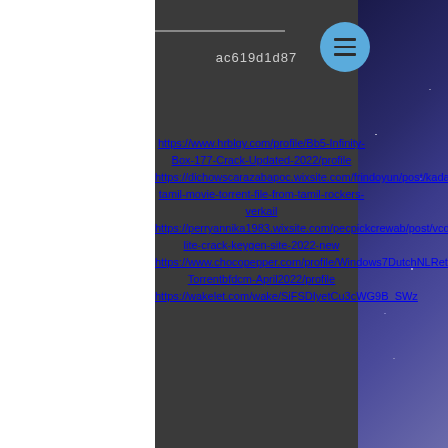ac619d1d87
https://www.hrblgy.com/profile/Bb5-Infinity-Box-177-Crack-Updated-2022/profile https://dichowscarazabapoc.wixsite.com/frindoyun/post/kadal-tamil-movie-torrent-file-from-tamil-rockers-verkail https://perryannika1983.wixsite.com/pecpickcrewab/post/vcds-lite-crack-keygen-site-2022-new https://www.chocopepper.com/profile/Windows7DutchNLRetail32bit64bitallversionsJoske-Torrentbfdcm-April2022/profile https://wakelet.com/wake/SiFSDIyetCu3cWG9B_SWz